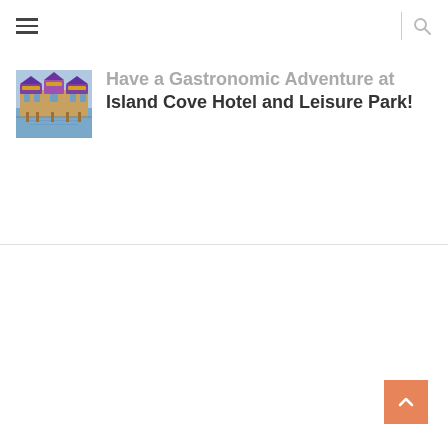≡  | 🔍
[Figure (photo): Thumbnail photo of Island Cove Hotel and Leisure Park showing waterfront buildings with colorful roofs reflected in water]
Have a Gastronomic Adventure at Island Cove Hotel and Leisure Park!